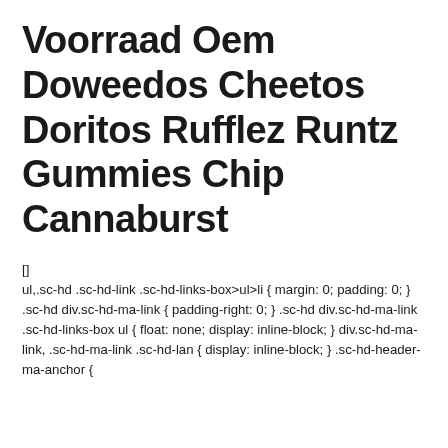Voorraad Oem Doweedos Cheetos Doritos Rufflez Runtz Gummies Chip Cannaburst
[]
ul,.sc-hd .sc-hd-link .sc-hd-links-box>ul>li { margin: 0; padding: 0; } .sc-hd div.sc-hd-ma-link { padding-right: 0; } .sc-hd div.sc-hd-ma-link .sc-hd-links-box ul { float: none; display: inline-block; } div.sc-hd-ma-link, .sc-hd-ma-link .sc-hd-lan { display: inline-block; } .sc-hd-header-ma-anchor {